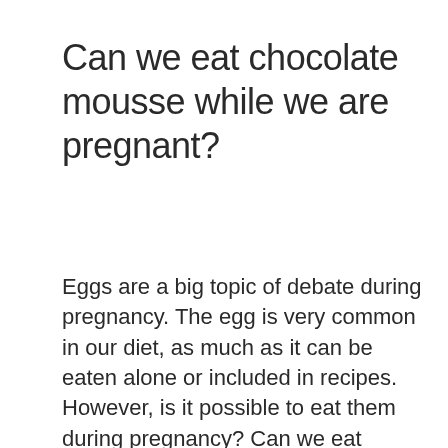Can we eat chocolate mousse while we are pregnant?
Eggs are a big topic of debate during pregnancy. The egg is very common in our diet, as much as it can be eaten alone or included in recipes. However, is it possible to eat them during pregnancy? Can we eat chocolate mousse when we are pregnant?